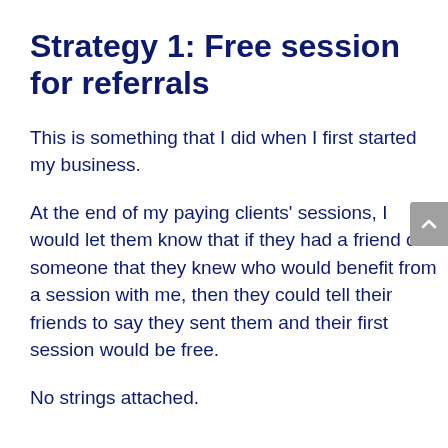Strategy 1: Free session for referrals
This is something that I did when I first started my business.
At the end of my paying clients' sessions, I would let them know that if they had a friend or someone that they knew who would benefit from a session with me, then they could tell their friends to say they sent them and their first session would be free.
No strings attached.